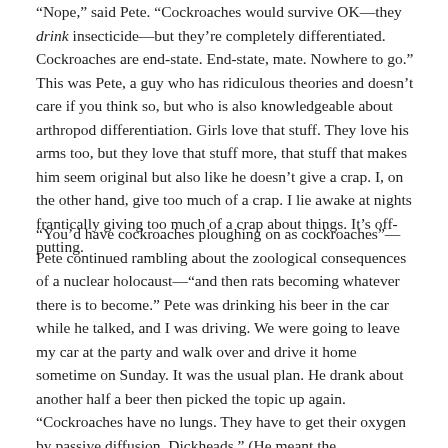“Nope,” said Pete. “Cockroaches would survive OK—they drink insecticide—but they’re completely differentiated. Cockroaches are end-state. End-state, mate. Nowhere to go.” This was Pete, a guy who has ridiculous theories and doesn’t care if you think so, but who is also knowledgeable about arthropod differentiation. Girls love that stuff. They love his arms too, but they love that stuff more, that stuff that makes him seem original but also like he doesn’t give a crap. I, on the other hand, give too much of a crap. I lie awake at nights frantically giving too much of a crap about things. It’s off-putting.
“You’d have cockroaches ploughing on as cockroaches”—Pete continued rambling about the zoological consequences of a nuclear holocaust—“and then rats becoming whatever there is to become.” Pete was drinking his beer in the car while he talked, and I was driving. We were going to leave my car at the party and walk over and drive it home sometime on Sunday. It was the usual plan. He drank about another half a beer then picked the topic up again. “Cockroaches have no lungs. They have to get their oxygen by passive diffusion. Dickheads.” (He meant the cockroaches.) “Fatal weakness. They can’t get any